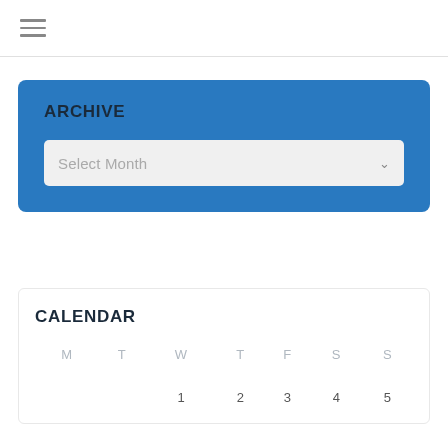☰ (hamburger menu icon)
ARCHIVE
Select Month
CALENDAR
| M | T | W | T | F | S | S |
| --- | --- | --- | --- | --- | --- | --- |
|  |  |  |  |  |  |  |
|  |  | 1 | 2 | 3 | 4 | 5 |